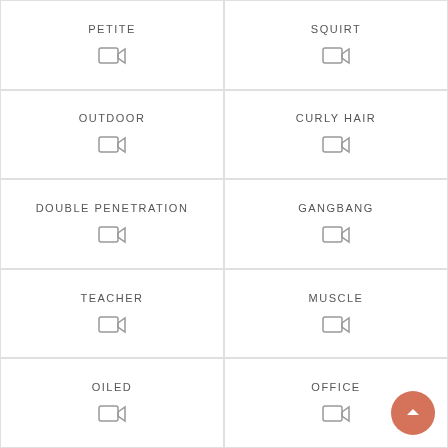PETITE
SQUIRT
OUTDOOR
CURLY HAIR
DOUBLE PENETRATION
GANGBANG
TEACHER
MUSCLE
OILED
OFFICE